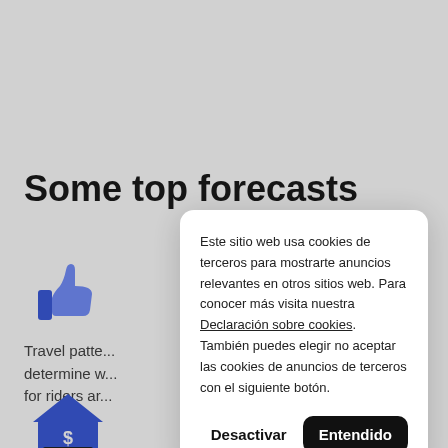Some top forecasts
[Figure (illustration): Blue thumbs up icon]
Travel patte... determine w... for riders ar...
[Figure (illustration): Blue house with dollar sign icon]
Este sitio web usa cookies de terceros para mostrarte anuncios relevantes en otros sitios web. Para conocer más visita nuestra Declaración sobre cookies. También puedes elegir no aceptar las cookies de anuncios de terceros con el siguiente botón.
Desactivar
Entendido